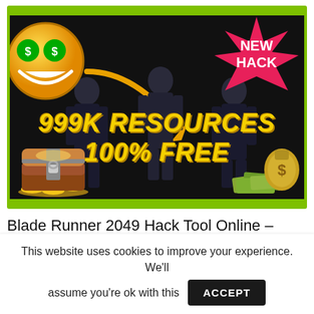[Figure (illustration): Gaming hack promotional banner with dark background, green border, money emoji face with dollar-sign eyes, 'NEW HACK' starburst in top right, arrow, silhouette game characters, gold treasure chest, money pile, and large yellow bold italic text reading '999K RESOURCES 100% FREE']
Blade Runner 2049 Hack Tool Online – Premium 100% Working Cheat
This website uses cookies to improve your experience. We'll assume you're ok with this ACCEPT